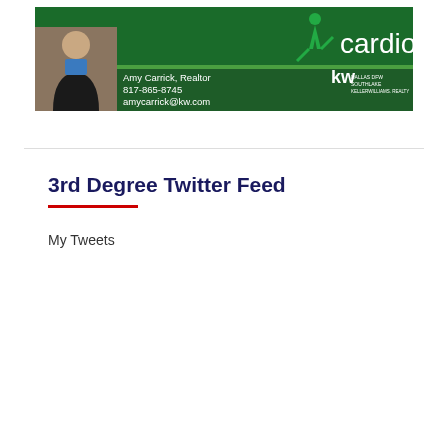[Figure (photo): Advertisement banner for Amy Carrick, Realtor with Keller Williams Realty Dallas DFW Southlake. Green background with soccer/cardio theme. Photo of a woman in business attire. Contact: 817-865-8745, amycarrick@kw.com]
3rd Degree Twitter Feed
My Tweets